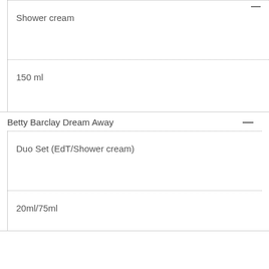Shower cream
150 ml
Betty Barclay Dream Away
Duo Set (EdT/Shower cream)
20ml/75ml